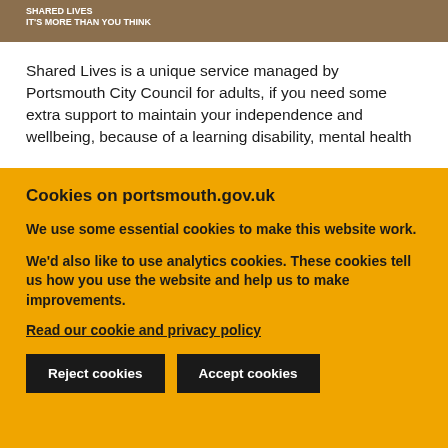[Figure (illustration): Shared Lives banner with brown background, white logo text 'SHARED LIVES IT'S MORE THAN YOU THINK' and illustrated animals/figures on the right side]
Shared Lives is a unique service managed by Portsmouth City Council for adults, if you need some extra support to maintain your independence and wellbeing, because of a learning disability, mental health
Cookies on portsmouth.gov.uk
We use some essential cookies to make this website work.
We'd also like to use analytics cookies. These cookies tell us how you use the website and help us to make improvements.
Read our cookie and privacy policy
Reject cookies
Accept cookies